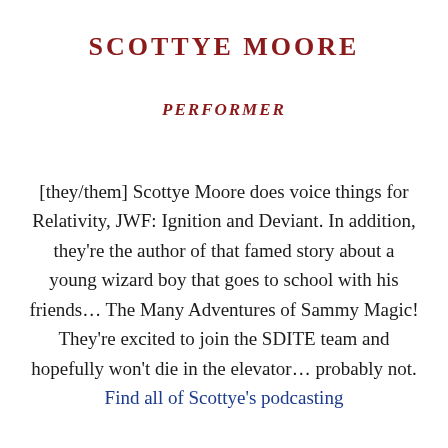SCOTTYE MOORE
PERFORMER
[they/them] Scottye Moore does voice things for Relativity, JWF: Ignition and Deviant. In addition, they're the author of that famed story about a young wizard boy that goes to school with his friends… The Many Adventures of Sammy Magic! They're excited to join the SDITE team and hopefully won't die in the elevator… probably not. Find all of Scottye's podcasting